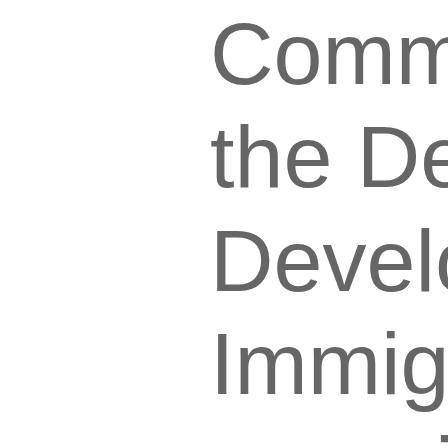Commission, the Department, Development, Immigrant Affairs, organizations s and League of